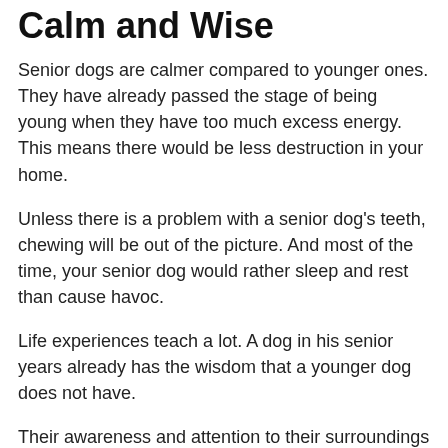Calm and Wise
Senior dogs are calmer compared to younger ones. They have already passed the stage of being young when they have too much excess energy. This means there would be less destruction in your home.
Unless there is a problem with a senior dog's teeth, chewing will be out of the picture. And most of the time, your senior dog would rather sleep and rest than cause havoc.
Life experiences teach a lot. A dog in his senior years already has the wisdom that a younger dog does not have.
Their awareness and attention to their surroundings are also improved. They serve as great teachers for your younger dogs when it comes to proper behavior.
Your senior dog's life…